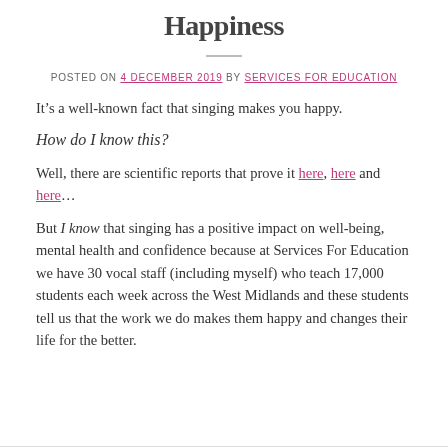Happiness
POSTED ON 4 DECEMBER 2019 BY SERVICES FOR EDUCATION
It’s a well-known fact that singing makes you happy.
How do I know this?
Well, there are scientific reports that prove it here, here and here…
But I know that singing has a positive impact on well-being, mental health and confidence because at Services For Education we have 30 vocal staff (including myself) who teach 17,000 students each week across the West Midlands and these students tell us that the work we do makes them happy and changes their life for the better.